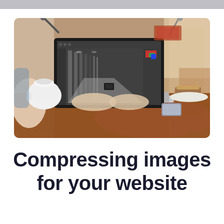[Figure (photo): Person sitting at a cafe table working on a laptop running Photoshop, with a white teapot, a phone, and a pastry on the table. The laptop screen shows a black and white architectural interior image being edited.]
Compressing images for your website